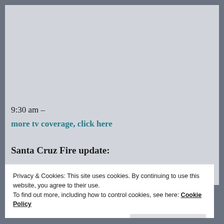9:30 am –
more tv coverage, click here
Santa Cruz Fire update:
Privacy & Cookies: This site uses cookies. By continuing to use this website, you agree to their use.
To find out more, including how to control cookies, see here: Cookie Policy
Close and accept